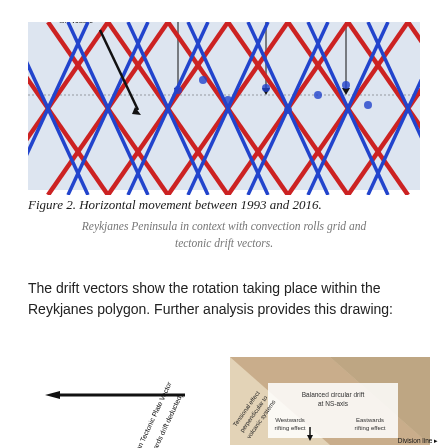[Figure (map): Map of Iceland showing horizontal movement between 1993 and 2016 with red and blue diagonal grid lines (convection rolls drift vectors) overlaid on a geographic map. Labels point to: Division line of east and west oriented drift vectors, Reykjanes Peninsula Oblique Rift Zone, South Iceland Seismic Zone, Eastern Volcanic Zone.]
Figure 2. Horizontal movement between 1993 and 2016.
Reykjanes Peninsula in context with convection rolls grid and tectonic drift vectors.
The drift vectors show the rotation taking place within the Reykjanes polygon. Further analysis provides this drawing:
[Figure (illustration): Partial illustration showing a diagram with drift vectors including North American Tectonic Plate Vector (northwards drift deducted), tensional effect perpendicular to volcanic systems, balanced circular drift at NS-axis, westwards rifting effect, eastwards rifting effect, and Division line label.]